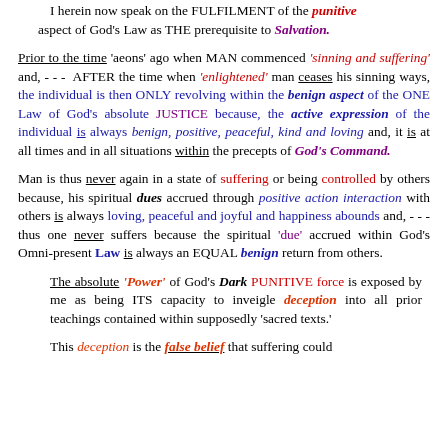I herein now speak on the FULFILMENT of the punitive aspect of God's Law as THE prerequisite to Salvation.
Prior to the time 'aeons' ago when MAN commenced 'sinning and suffering' and, - - - AFTER the time when 'enlightened' man ceases his sinning ways, the individual is then ONLY revolving within the benign aspect of the ONE Law of God's absolute JUSTICE because, the active expression of the individual is always benign, positive, peaceful, kind and loving and, it is at all times and in all situations within the precepts of God's Command.
Man is thus never again in a state of suffering or being controlled by others because, his spiritual dues accrued through positive action interaction with others is always loving, peaceful and joyful and happiness abounds and, - - - thus one never suffers because the spiritual 'due' accrued within God's Omni-present Law is always an EQUAL benign return from others.
The absolute 'Power' of God's Dark PUNITIVE force is exposed by me as being ITS capacity to inveigle deception into all prior teachings contained within supposedly 'sacred texts.'
This deception is the false belief that suffering could